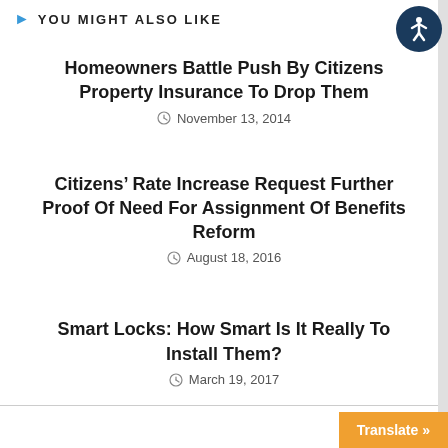YOU MIGHT ALSO LIKE
Homeowners Battle Push By Citizens Property Insurance To Drop Them
November 13, 2014
Citizens' Rate Increase Request Further Proof Of Need For Assignment Of Benefits Reform
August 18, 2016
Smart Locks: How Smart Is It Really To Install Them?
March 19, 2017